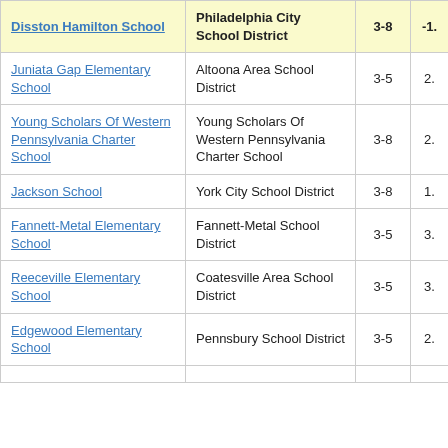| School | District | Grades | Score |
| --- | --- | --- | --- |
| Disston Hamilton School | Philadelphia City School District | 3-8 | -1. |
| Juniata Gap Elementary School | Altoona Area School District | 3-5 | 2. |
| Young Scholars Of Western Pennsylvania Charter School | Young Scholars Of Western Pennsylvania Charter School | 3-8 | 2. |
| Jackson School | York City School District | 3-8 | 1. |
| Fannett-Metal Elementary School | Fannett-Metal School District | 3-5 | 3. |
| Reeceville Elementary School | Coatesville Area School District | 3-5 | 3. |
| Edgewood Elementary School | Pennsbury School District | 3-5 | 2. |